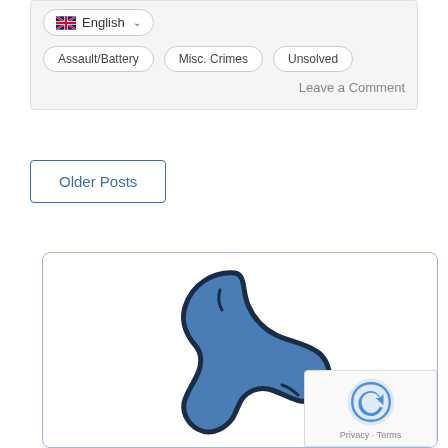[Figure (screenshot): Language selector dropdown showing English with UK flag icon and chevron, inside a light grey card]
Assault/Battery
Misc. Crimes
Unsolved
Leave a Comment
Older Posts
[Figure (illustration): Blue telephone handset icon with dark outline on white background inside a bordered card. Bottom-right corner shows a reCAPTCHA badge with Privacy and Terms text.]